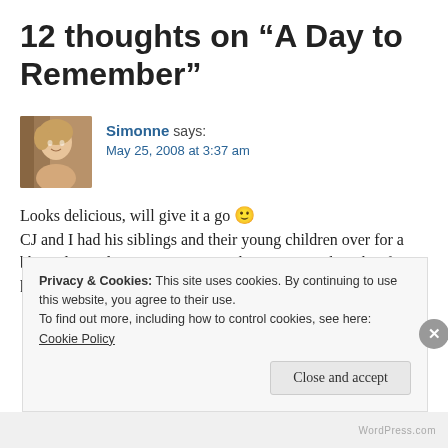12 thoughts on “A Day to Remember”
[Figure (photo): Avatar photo of commenter Simonne, a woman with short blonde hair]
Simonne says:
May 25, 2008 at 3:37 am
Looks delicious, will give it a go 🙂 CJ and I had his siblings and their young children over for a bbq today and I rang my mum in the morning asking her for her rice salad recipe that I’ve always loved. These recipes
Privacy & Cookies: This site uses cookies. By continuing to use this website, you agree to their use.
To find out more, including how to control cookies, see here: Cookie Policy
Close and accept